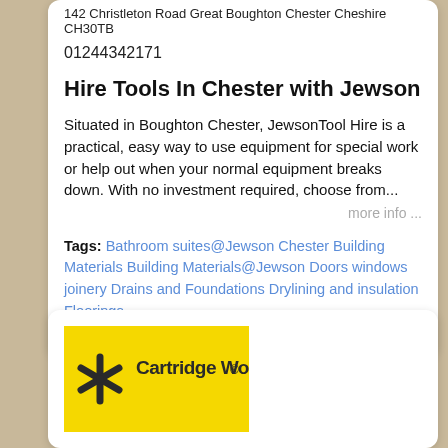142 Christleton Road Great Boughton Chester Cheshire CH30TB
01244342171
Hire Tools In Chester with Jewson
Situated in Boughton Chester, JewsonTool Hire is a practical, easy way to use equipment for special work or help out when your normal equipment breaks down. With no investment required, choose from...
more info ...
Tags: Bathroom suites@Jewson Chester Building Materials Building Materials@Jewson Doors windows joinery Drains and Foundations Drylining and insulation Floorings
[Figure (logo): Cartridge World logo on yellow background with star/asterisk icon]